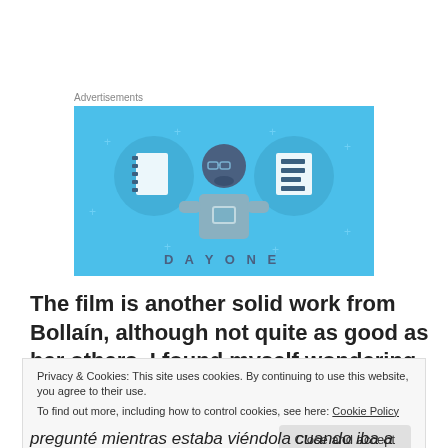Advertisements
[Figure (illustration): Advertisement banner with light blue background showing a cartoon person holding a phone, flanked by two circular icons showing notebooks/lists, with 'DAY ONE' text at bottom]
The film is another solid work from Bollaín, although not quite as good as her others. I found myself wondering
Privacy & Cookies: This site uses cookies. By continuing to use this website, you agree to their use.
To find out more, including how to control cookies, see here: Cookie Policy
Close and accept
pregunté mientras estaba viéndola cuando iba a empezar el